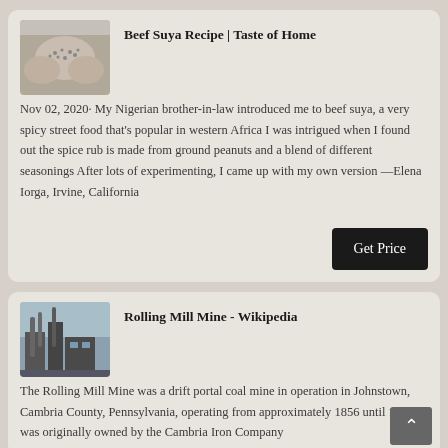Beef Suya Recipe | Taste of Home
Nov 02, 2020· My Nigerian brother-in-law introduced me to beef suya, a very spicy street food that's popular in western Africa I was intrigued when I found out the spice rub is made from ground peanuts and a blend of different seasonings After lots of experimenting, I came up with my own version —Elena Iorga, Irvine, California
[Figure (photo): Hands holding ground peanuts or spice mixture]
Rolling Mill Mine - Wikipedia
The Rolling Mill Mine was a drift portal coal mine in operation in Johnstown, Cambria County, Pennsylvania, operating from approximately 1856 until 1931It was originally owned by the Cambria Iron Company
[Figure (photo): Industrial mining equipment or rolling mill machinery]